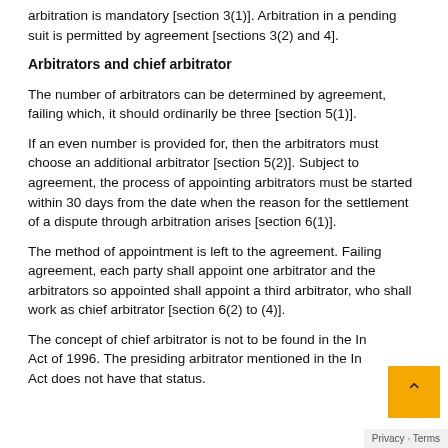arbitration is mandatory [section 3(1)]. Arbitration in a pending suit is permitted by agreement [sections 3(2) and 4].
Arbitrators and chief arbitrator
The number of arbitrators can be determined by agreement, failing which, it should ordinarily be three [section 5(1)].
If an even number is provided for, then the arbitrators must choose an additional arbitrator [section 5(2)]. Subject to agreement, the process of appointing arbitrators must be started within 30 days from the date when the reason for the settlement of a dispute through arbitration arises [section 6(1)].
The method of appointment is left to the agreement. Failing agreement, each party shall appoint one arbitrator and the arbitrators so appointed shall appoint a third arbitrator, who shall work as chief arbitrator [section 6(2) to (4)].
The concept of chief arbitrator is not to be found in the Indian Act of 1996. The presiding arbitrator mentioned in the Indian Act does not have that status.